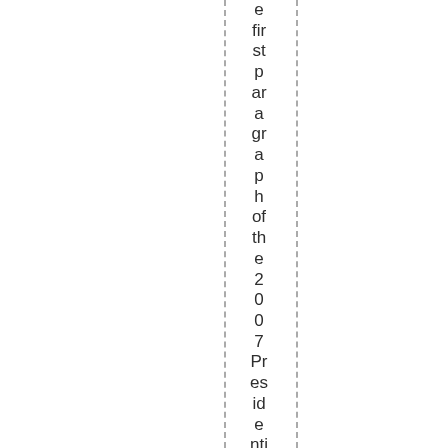e first paragraph of the 2007 Presidential Directive descri